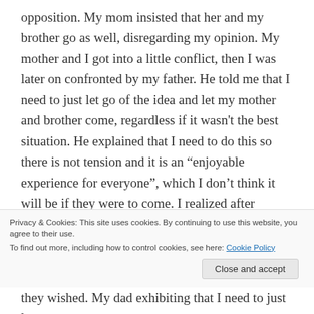opposition. My mom insisted that her and my brother go as well, disregarding my opinion. My mother and I got into a little conflict, then I was later on confronted by my father. He told me that I need to just let go of the idea and let my mother and brother come, regardless if it wasn't the best situation. He explained that I need to do this so there is not tension and it is an “enjoyable experience for everyone”, which I don’t think it will be if they were to come. I realized after reading this chapter that my family is a consensual family, one that is characterized by high levels of conformity and
Privacy & Cookies: This site uses cookies. By continuing to use this website, you agree to their use.
To find out more, including how to control cookies, see here: Cookie Policy
they wished. My dad exhibiting that I need to just let